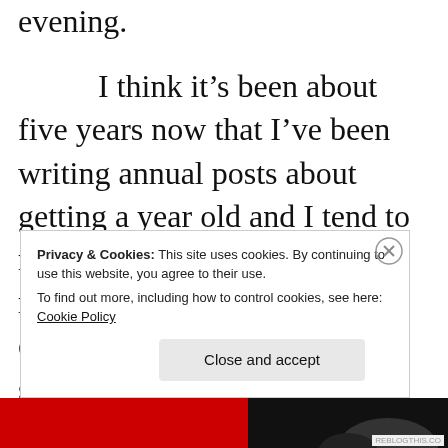evening.
I think it's been about five years now that I've been writing annual posts about getting a year old and I tend to make it a slideshow of memories from the year, a chronicle of hangups, but seeing as I've got such a blissfully huge amount of very personal and exciting work on my plate for
Privacy & Cookies: This site uses cookies. By continuing to use this website, you agree to their use.
To find out more, including how to control cookies, see here: Cookie Policy
Close and accept
[Figure (screenshot): Red banner at the bottom of the page with a dark image area on the right side]